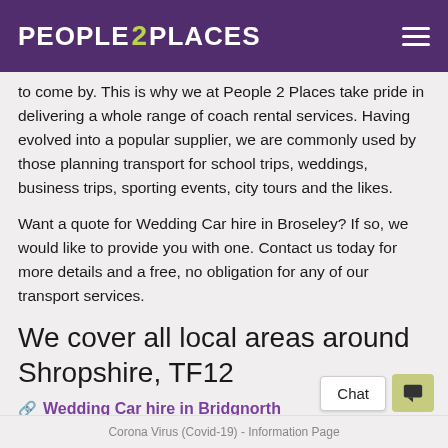PEOPLE 2 PLACES
to come by. This is why we at People 2 Places take pride in delivering a whole range of coach rental services. Having evolved into a popular supplier, we are commonly used by those planning transport for school trips, weddings, business trips, sporting events, city tours and the likes.
Want a quote for Wedding Car hire in Broseley? If so, we would like to provide you with one. Contact us today for more details and a free, no obligation for any of our transport services.
We cover all local areas around Shropshire, TF12
Wedding Car hire in Bridgnorth
Corona Virus (Covid-19) - Information Page